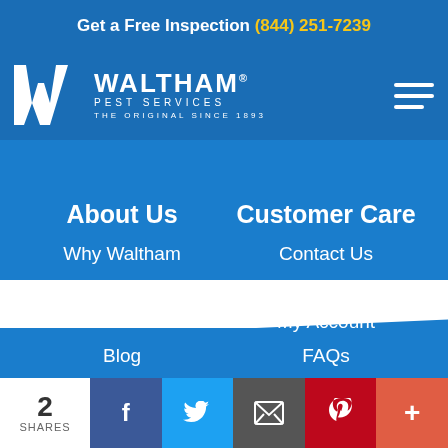Get a Free Inspection (844) 251-7239
[Figure (logo): Waltham Pest Services logo - The Original Since 1893]
About Us
Why Waltham
About Waltham
Careers
Blog
Product/SDS
Customer Care
Contact Us
Locations
My Account
FAQs
2 SHARES